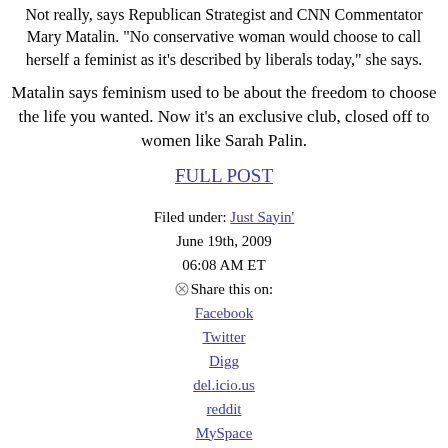Not really, says Republican Strategist and CNN Commentator Mary Matalin. "No conservative woman would choose to call herself a feminist as it's described by liberals today," she says.
Matalin says feminism used to be about the freedom to choose the life you wanted. Now it's an exclusive club, closed off to women like Sarah Palin.
FULL POST
Filed under: Just Sayin'
June 19th, 2009
06:08 AM ET
Share this on:
Facebook
Twitter
Digg
del.icio.us
reddit
MySpace
StumbleUpon
Comments (8 comments)
Ayatollah Khamenei addresses election